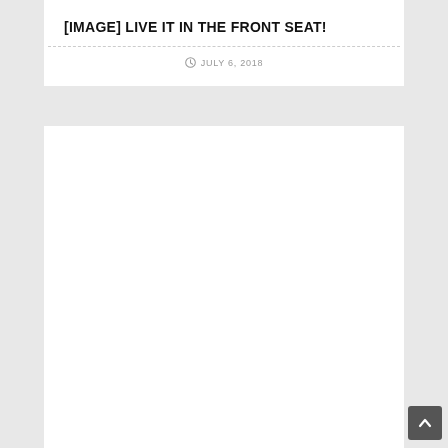[IMAGE] LIVE IT IN THE FRONT SEAT!
JULY 6, 2018
[Figure (other): Empty white content area placeholder for an image]